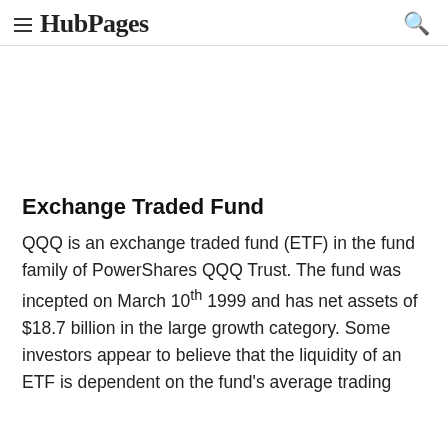HubPages
Exchange Traded Fund
QQQ is an exchange traded fund (ETF) in the fund family of PowerShares QQQ Trust. The fund was incepted on March 10th 1999 and has net assets of $18.7 billion in the large growth category. Some investors appear to believe that the liquidity of an ETF is dependent on the fund's average trading